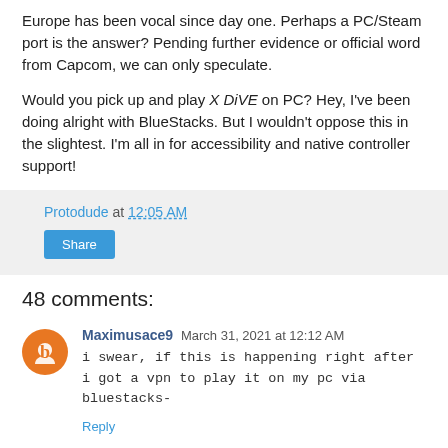Europe has been vocal since day one. Perhaps a PC/Steam port is the answer? Pending further evidence or official word from Capcom, we can only speculate.
Would you pick up and play X DiVE on PC? Hey, I've been doing alright with BlueStacks. But I wouldn't oppose this in the slightest. I'm all in for accessibility and native controller support!
Protodude at 12:05 AM
Share
48 comments:
Maximusace9 March 31, 2021 at 12:12 AM
i swear, if this is happening right after i got a vpn to play it on my pc via bluestacks-
Reply